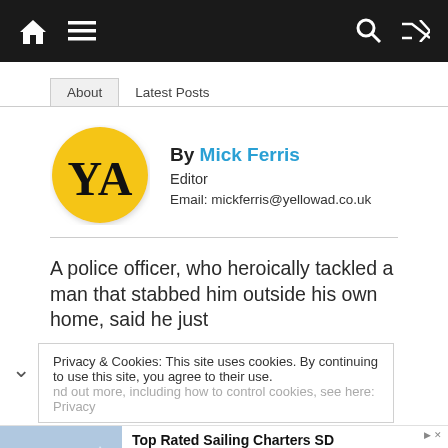Navigation bar with home, menu, search, shuffle icons
About   Latest Posts
[Figure (logo): Yellow circle logo with black letters YA]
By Mick Ferris
Editor
Email: mickferris@yellowad.co.uk
A police officer, who heroically tackled a man that stabbed him outside his own home, said he just
Privacy & Cookies: This site uses cookies. By continuing to use this site, you agree to their use.
nd out more, including how to control cookies, see here: Privacy
[Figure (photo): Group of people on a snowy mountain, skiing/winter scene]
Top Rated Sailing Charters SD
Perfect way to unwind after the pandemic is behind us. Book now for a summer sail!
Stars & Stripes USA 11